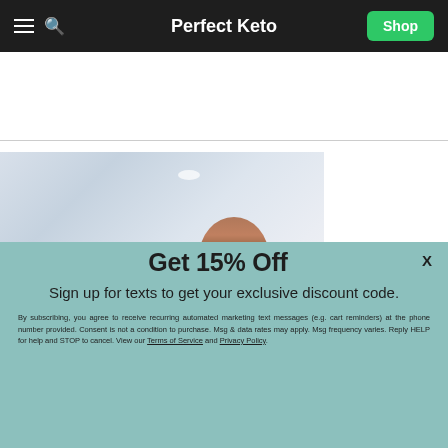Perfect Keto
[Figure (photo): Woman with dark hair in a bright interior space, partial face visible]
Get 15% Off
Sign up for texts to get your exclusive discount code.
By subscribing, you agree to receive recurring automated marketing text messages (e.g. cart reminders) at the phone number provided. Consent is not a condition to purchase. Msg & data rates may apply. Msg frequency varies. Reply HELP for help and STOP to cancel. View our Terms of Service and Privacy Policy.
Get 15% Off Now